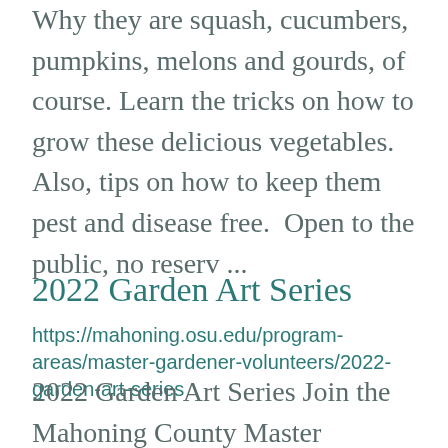Why they are squash, cucumbers, pumpkins, melons and gourds, of course. Learn the tricks on how to grow these delicious vegetables. Also, tips on how to keep them pest and disease free.  Open to the public, no reserv ...
2022 Garden Art Series
https://mahoning.osu.edu/program-areas/master-gardener-volunteers/2022-garden-art-series
2022 Garden Art Series Join the Mahoning County Master Gardeners for the 2022 Garden Art Series. The OSU Extension Master Gardener Volunteers will lead hands-on garden art demonstrations that